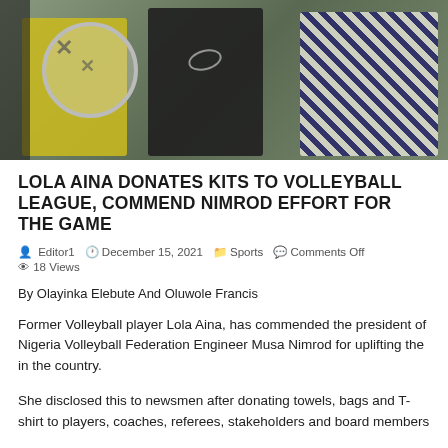[Figure (photo): Photo of people at a volleyball league event, including figures holding a trophy/plaque against a colorful background]
LOLA AINA DONATES KITS TO VOLLEYBALL LEAGUE, COMMEND NIMROD EFFORT FOR THE GAME
Editor1   December 15, 2021   Sports   Comments Off   18 Views
By Olayinka Elebute And Oluwole Francis
Former Volleyball player Lola Aina, has commended the president of Nigeria Volleyball Federation Engineer Musa Nimrod for uplifting the in the country.
She disclosed this to newsmen after donating towels, bags and T-shirt to players, coaches, referees, stakeholders and board members